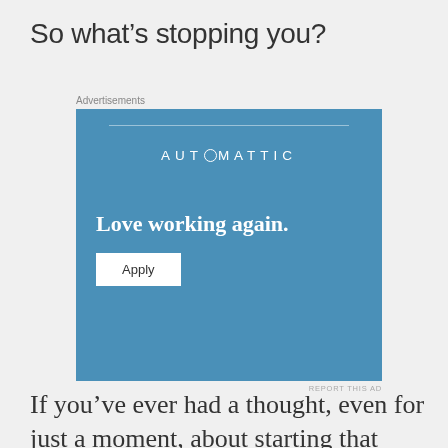So what’s stopping you?
[Figure (screenshot): Advertisement box with Automattic branding on a blue background. Contains the AUTOMATTIC logo, tagline 'Love working again.' and an Apply button.]
If you’ve ever had a thought, even for just a moment, about starting that